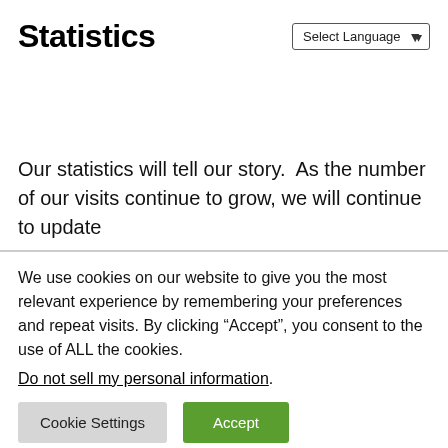Statistics
Our statistics will tell our story.  As the number of our visits continue to grow, we will continue to update
We use cookies on our website to give you the most relevant experience by remembering your preferences and repeat visits. By clicking “Accept”, you consent to the use of ALL the cookies.
Do not sell my personal information.